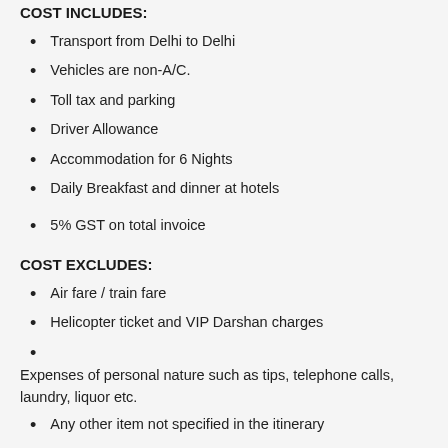COST INCLUDES:
Transport from Delhi to Delhi
Vehicles are non-A/C.
Toll tax and parking
Driver Allowance
Accommodation for 6 Nights
Daily Breakfast and dinner at hotels
5% GST on total invoice
COST EXCLUDES:
Air fare / train fare
Helicopter ticket and VIP Darshan charges
Expenses of personal nature such as tips, telephone calls, laundry, liquor etc.
Any other item not specified in the itinerary
Porterage during trekking
Entrance fees during sightseeing